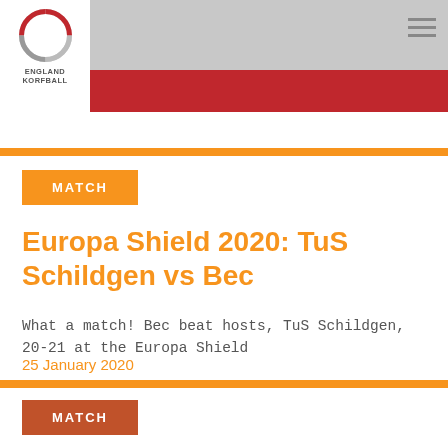[Figure (logo): England Korfball circular logo with red and gray swirl design, text ENGLAND KORFBALL below]
England Korfball website header with gray and red banner
MATCH
Europa Shield 2020: TuS Schildgen vs Bec
What a match! Bec beat hosts, TuS Schildgen, 20-21 at the Europa Shield
25 January 2020
MATCH